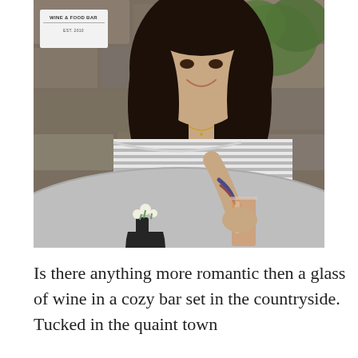[Figure (photo): A smiling woman with dark hair wearing an off-shoulder striped top sits at a round gray cafe table outdoors. She holds a glass of wine/rose. A black vase with small white flowers sits on the table. The background shows a stone wall. A white sign reading 'WINE & FOOD BAR' is visible in the upper left.]
Is there anything more romantic then a glass of wine in a cozy bar set in the countryside.  Tucked in the quaint town